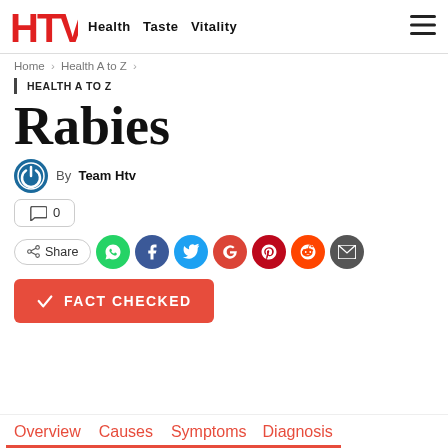HTV Health Taste Vitality
Home > Health A to Z >
HEALTH A TO Z
Rabies
By Team Htv
0 comments
Share (WhatsApp, Facebook, Twitter, Google, Pinterest, Reddit, Email)
✓ FACT CHECKED
Overview  Causes  Symptoms  Diagnosis